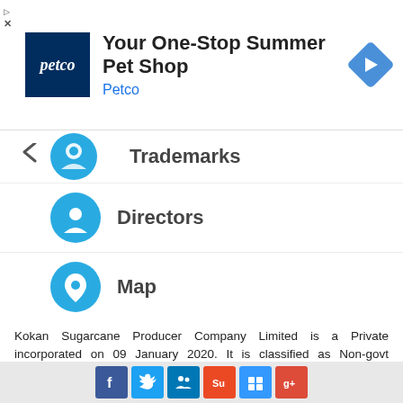[Figure (screenshot): Petco advertisement banner: Petco logo (dark blue square with 'petco' text), headline 'Your One-Stop Summer Pet Shop', subheading 'Petco', and a blue diamond navigation arrow icon on the right. Small triangle and X close buttons on the left.]
Trademarks
Directors
Map
Kokan Sugarcane Producer Company Limited is a Private incorporated on 09 January 2020. It is classified as Non-govt company and is registered at Registrar of Companies, Pune. Its authorized share capital is Rs. 1,000,000 and its paid up capital is Rs. 1,000,000. It is inolved in Growing of crops; market gardening; horticulture
[Figure (infographic): Social media sharing buttons row: Facebook (blue), Twitter (blue), LinkedIn/people icon (blue), StumbleUpon (orange), Delicious (blue), Google Plus (red)]